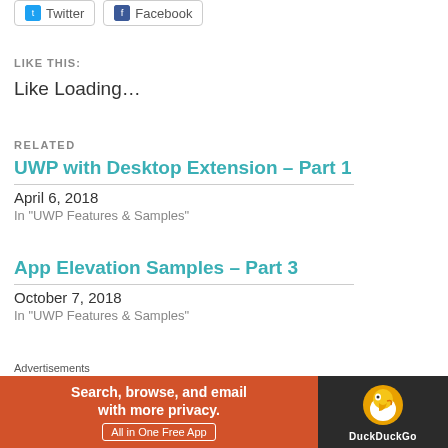[Figure (other): Twitter and Facebook social share buttons]
LIKE THIS:
Like Loading…
RELATED
UWP with Desktop Extension – Part 1
April 6, 2018
In "UWP Features & Samples"
App Elevation Samples – Part 3
October 7, 2018
In "UWP Features & Samples"
App Elevation Samples – Part 1
Advertisements
[Figure (other): DuckDuckGo advertisement banner: Search, browse, and email with more privacy. All in One Free App]